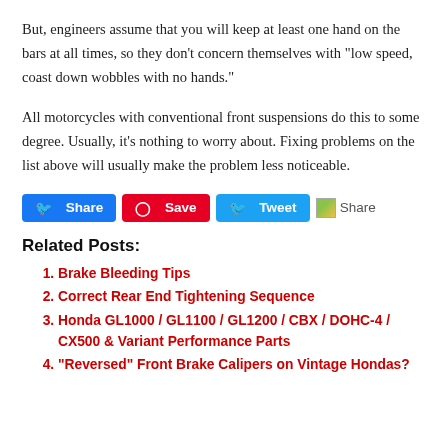But, engineers assume that you will keep at least one hand on the bars at all times, so they don’t concern themselves with “low speed, coast down wobbles with no hands.”
All motorcycles with conventional front suspensions do this to some degree. Usually, it’s nothing to worry about. Fixing problems on the list above will usually make the problem less noticeable.
[Figure (other): Social share buttons: Facebook Share (blue), Pinterest Save (red), Twitter Tweet (blue), and a Share link with image icon]
Related Posts:
Brake Bleeding Tips
Correct Rear End Tightening Sequence
Honda GL1000 / GL1100 / GL1200 / CBX / DOHC-4 / CX500 & Variant Performance Parts
“Reversed” Front Brake Calipers on Vintage Hondas?